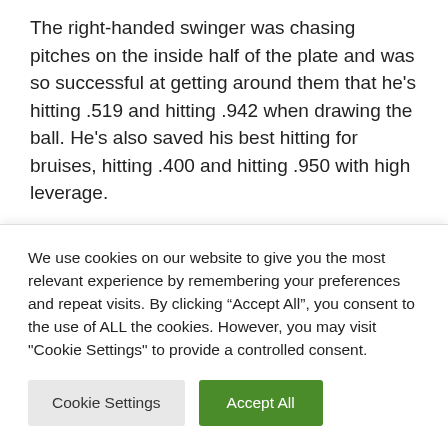The right-handed swinger was chasing pitches on the inside half of the plate and was so successful at getting around them that he’s hitting .519 and hitting .942 when drawing the ball. He’s also saved his best hitting for bruises, hitting .400 and hitting .950 with high leverage.
Since his 1.90 ERA doesn’t mean as much dominance as Justin Verlander’s MLB lead of
We use cookies on our website to give you the most relevant experience by remembering your preferences and repeat visits. By clicking “Accept All”, you consent to the use of ALL the cookies. However, you may visit "Cookie Settings" to provide a controlled consent.